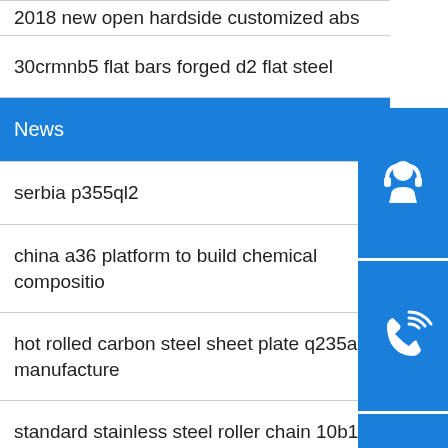2018 new open hardside customized abs
30crmnb5 flat bars forged d2 flat steel
News
serbia p355ql2
china a36 platform to build chemical compositio
hot rolled carbon steel sheet plate q235a manufacture
standard stainless steel roller chain 10b1
din17175 st37seamless carbon steel pipe
factory directly sale 201 304 316 410 4mm thick